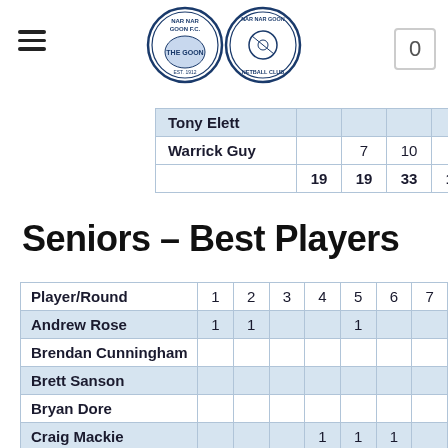Nar Nar Goon FC / Nar Nar Goon Netball Club
| Player/Round |  |  |  |  |  |
| --- | --- | --- | --- | --- | --- |
| Tony Elett |  |  |  |  |  |
| Warrick Guy |  | 7 | 10 | 6 | 4 |
|  | 19 | 19 | 33 | 12 | 16 |
Seniors – Best Players
| Player/Round | 1 | 2 | 3 | 4 | 5 | 6 | 7 |
| --- | --- | --- | --- | --- | --- | --- | --- |
| Andrew Rose | 1 | 1 |  |  | 1 |  |  |
| Brendan Cunningham |  |  |  |  |  |  |  |
| Brett Sanson |  |  |  |  |  |  |  |
| Bryan Dore |  |  |  |  |  |  |  |
| Craig Mackie |  |  |  | 1 | 1 | 1 |  |
| Daniel Clarke |  |  |  |  |  |  |  |
| Darren Pope | 1 |  |  |  |  | 1 |  |
| David Allen |  |  |  |  |  |  |  |